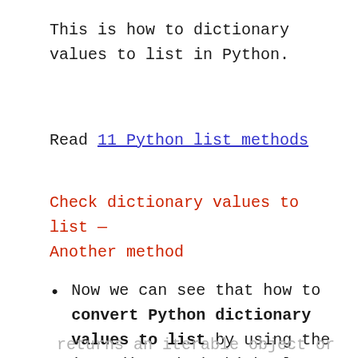This is how to dictionary values to list in Python.
Read 11 Python list methods
Check dictionary values to list — Another method
Now we can see that how to convert Python dictionary values to list by using the items() method which always
returns an iterable object or